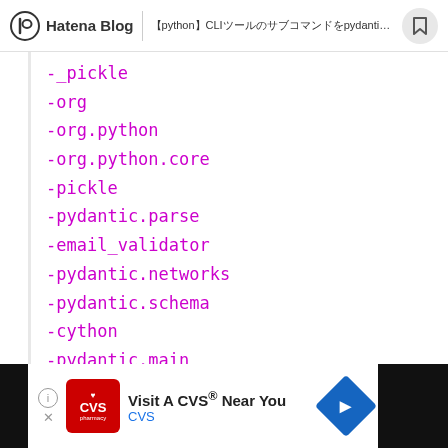Hatena Blog | 【python】CLIツールのサブコマンドをpydanticで作る
-_pickle
-org
-org.python
-org.python.core
-pickle
-pydantic.parse
-email_validator
-pydantic.networks
-pydantic.schema
-cython
-pydantic.main
-pydantic.dataclasses
[Figure (screenshot): CVS pharmacy advertisement banner: Visit A CVS Near You]